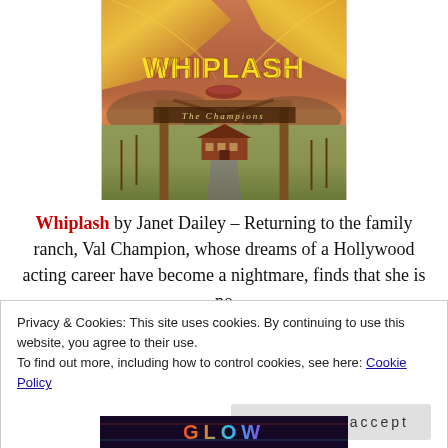[Figure (illustration): Book cover for 'Whiplash' by Janet Dailey, 'The Champions' series. Shows a woman's face (close-up, bottom half) with windswept golden-red hair at the top, overlaying a western ranch scene with wooden gate posts and beam, a red ranch house, road leading to it, and a dramatic sunset sky. Title 'WHIPLASH' in large yellow text, subtitle 'The Champions' in smaller text on a dark bar.]
Whiplash by Janet Dailey – Returning to the family ranch, Val Champion, whose dreams of a Hollywood acting career have become a nightmare, finds that she is no
Privacy & Cookies: This site uses cookies. By continuing to use this website, you agree to their use.
To find out more, including how to control cookies, see here: Cookie Policy
Close and accept
[Figure (photo): Bottom portion of another book cover, partially visible, with colorful glowing text on a dark purple/blue background.]